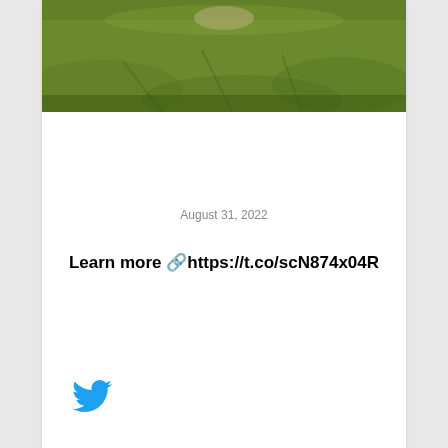[Figure (photo): Outdoor grassy field photograph, partial view showing green grass with sunlight, cropped at top of card]
August 31, 2022
Learn more 🔗https://t.co/scN874x04R
[Figure (logo): Twitter bird logo in blue]